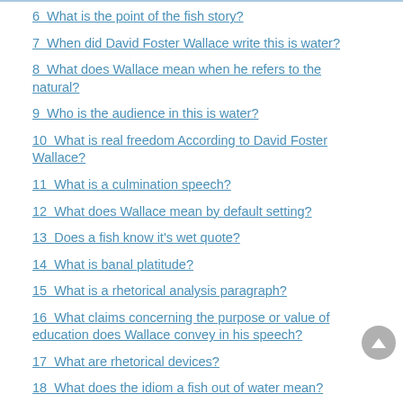6 What is the point of the fish story?
7 When did David Foster Wallace write this is water?
8 What does Wallace mean when he refers to the natural?
9 Who is the audience in this is water?
10 What is real freedom According to David Foster Wallace?
11 What is a culmination speech?
12 What does Wallace mean by default setting?
13 Does a fish know it's wet quote?
14 What is banal platitude?
15 What is a rhetorical analysis paragraph?
16 What claims concerning the purpose or value of education does Wallace convey in his speech?
17 What are rhetorical devices?
18 What does the idiom a fish out of water mean?
19 What I want is the ocean quote?
20 What I want is the Ocean Soul meaning?